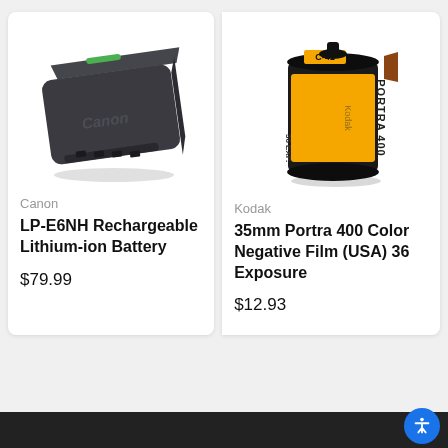[Figure (photo): Canon LP-E6NH rechargeable lithium-ion battery, dark grey rectangular battery unit with small green indicator strip on top and Canon branding on the face]
Canon
LP-E6NH Rechargeable Lithium-ion Battery
$79.99
[Figure (photo): Kodak Portra 400 Color Negative Film canister for 36 exposures, black cylindrical canister with yellow label, C-41 process, USA version]
Kodak
35mm Portra 400 Color Negative Film (USA) 36 Exposure
$12.93